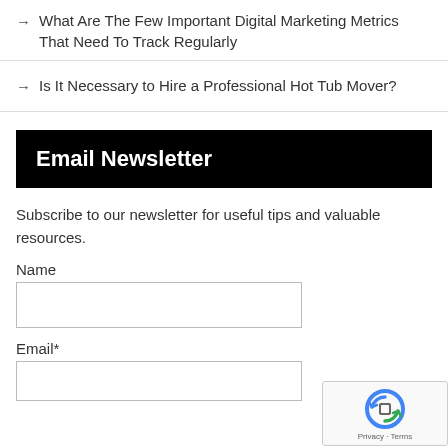→ What Are The Few Important Digital Marketing Metrics That Need To Track Regularly
→ Is It Necessary to Hire a Professional Hot Tub Mover?
Email Newsletter
Subscribe to our newsletter for useful tips and valuable resources.
Name
Email*